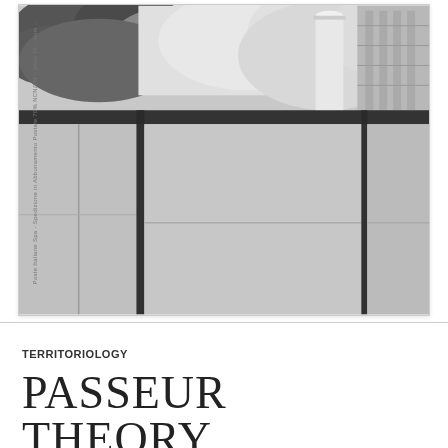[Figure (photo): Black and white architectural photograph showing geometric concrete building facade panels with a cloudy sky above and a cylindrical white column/chimney visible at top right. Vertical text on left side reads 'Poste Italiane Spa - Spedizione in Abbonamento Postale 70% NCN/TN - anno IX - num…']
TERRITORIOLOGY
PASSEUR THEORY
OCTOBER 22, 2016